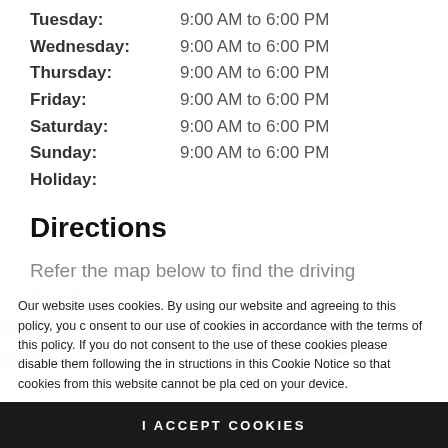Tuesday: 9:00 AM to 6:00 PM
Wednesday: 9:00 AM to 6:00 PM
Thursday: 9:00 AM to 6:00 PM
Friday: 9:00 AM to 6:00 PM
Saturday: 9:00 AM to 6:00 PM
Sunday: 9:00 AM to 6:00 PM
Holiday:
Directions
Refer the map below to find the driving directions.
[Figure (map): Street map showing driving directions]
Our website uses cookies. By using our website and agreeing to this policy, you consent to our use of cookies in accordance with the terms of this policy. If you do not consent to the use of these cookies please disable them following the instructions in this Cookie Notice so that cookies from this website cannot be placed on your device.
I ACCEPT COOKIES